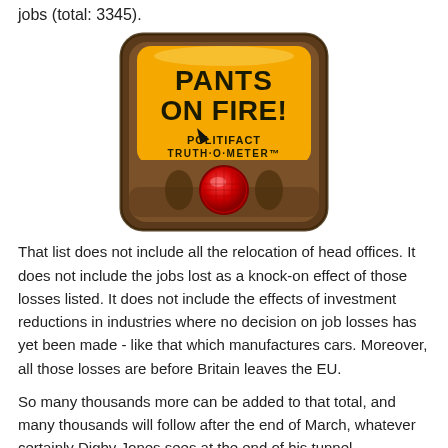jobs (total: 3345).
[Figure (illustration): PolitiFact Truth-O-Meter gauge showing 'PANTS ON FIRE!' rating with a red button at the bottom, set in a brown rounded-rectangle frame with an orange/yellow display area.]
That list does not include all the relocation of head offices. It does not include the jobs lost as a knock-on effect of those losses listed. It does not include the effects of investment reductions in industries where no decision on job losses has yet been made - like that which manufactures cars. Moreover, all those losses are before Britain leaves the EU.
So many thousands more can be added to that total, and many thousands will follow after the end of March, whatever certainly Digby Jones sees at the end of his tunnel.